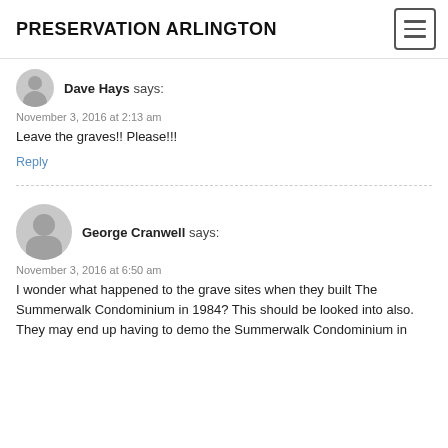PRESERVATION ARLINGTON
Dave Hays says:
November 3, 2016 at 2:13 am
Leave the graves!! Please!!!
Reply
George Cranwell says:
November 3, 2016 at 6:50 am
I wonder what happened to the grave sites when they built The Summerwalk Condominium in 1984? This should be looked into also. They may end up having to demo the Summerwalk Condominium in